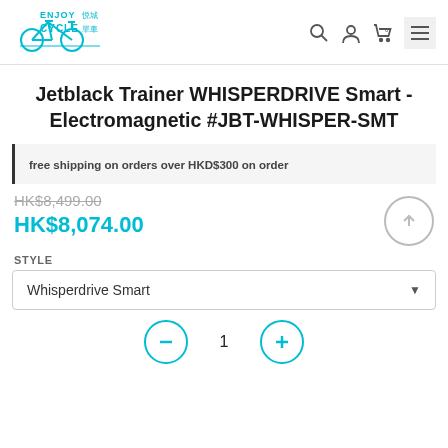[Figure (logo): Enjoy Cycle bicycle shop logo with bicycle icon in blue/cyan, with Chinese characters]
Jetblack Trainer WHISPERDRIVE Smart - Electromagnetic #JBT-WHISPER-SMT
free shipping on orders over HKD$300 on order
HK$8,499.00 (strikethrough original price) HK$8,074.00 (sale price)
STYLE
Whisperdrive Smart
1 (quantity)